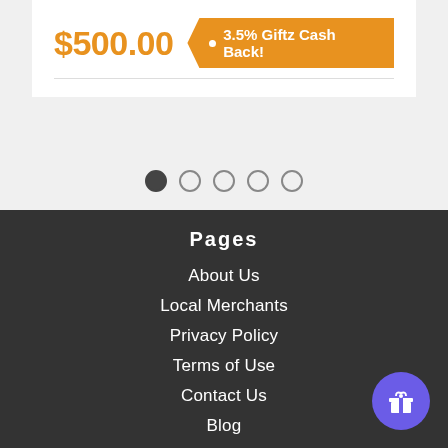$500.00  • 3.5% Giftz Cash Back!
[Figure (other): Carousel pagination dots, first dot active]
Pages
About Us
Local Merchants
Privacy Policy
Terms of Use
Contact Us
Blog
Sitemap